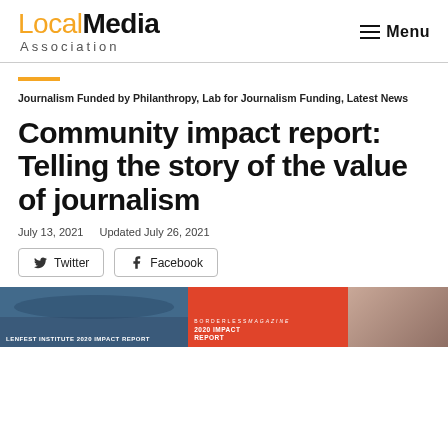Local Media Association — Menu
Journalism Funded by Philanthropy, Lab for Journalism Funding, Latest News
Community impact report: Telling the story of the value of journalism
July 13, 2021   Updated July 26, 2021
Twitter  Facebook
[Figure (photo): Three images side by side: Lenfest Institute 2020 Impact Report cover showing a crowd, Borderless Magazine 2020 Impact Report in red, and a photo of a woman wearing glasses.]